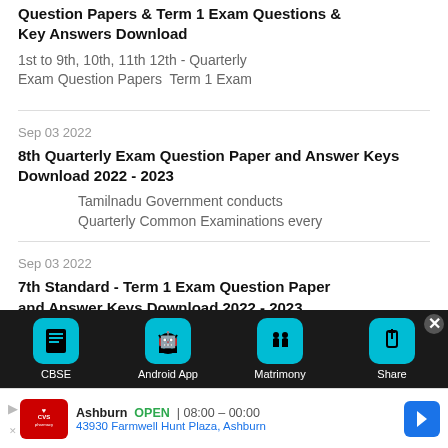Question Papers & Term 1 Exam Questions & Key Answers Download
1st to 9th, 10th, 11th 12th - Quarterly Exam Question Papers Term 1 Exam
Sep 03 2022
8th Quarterly Exam Question Paper and Answer Keys Download 2022 - 2023
Tamilnadu Government conducts Quarterly Common Examinations every
Sep 03 2022
7th Standard - Term 1 Exam Question Paper and Answer Keys Download 2022 - 2023
Tamilnadu Government conducts Quarterly Common Examinations every
[Figure (screenshot): Mobile app toolbar with CBSE, Android App, Matrimony, Share buttons on dark background]
[Figure (screenshot): CVS Pharmacy advertisement: Ashburn OPEN 08:00-00:00, 43930 Farmwell Hunt Plaza, Ashburn]